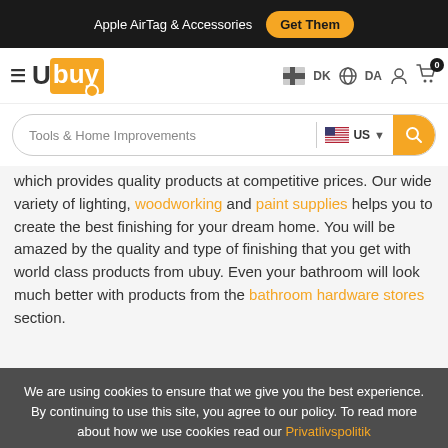Apple AirTag & Accessories  Get Them
[Figure (logo): Ubuy logo with hamburger menu and navigation icons (DK, DA, user, cart with 0)]
[Figure (screenshot): Search bar with 'Tools & Home Improvements' text, US flag country selector, and search button]
which provides quality products at competitive prices. Our wide variety of lighting, woodworking and paint supplies helps you to create the best finishing for your dream home. You will be amazed by the quality and type of finishing that you get with world class products from ubuy. Even your bathroom will look much better with products from the bathroom hardware stores section.
We are using cookies to ensure that we give you the best experience. By continuing to use this site, you agree to our policy. To read more about how we use cookies read our Privatlivspolitik
Luk